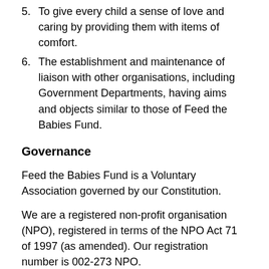5. To give every child a sense of love and caring by providing them with items of comfort.
6. The establishment and maintenance of liaison with other organisations, including Government Departments, having aims and objects similar to those of Feed the Babies Fund.
Governance
Feed the Babies Fund is a Voluntary Association governed by our Constitution.
We are a registered non-profit organisation (NPO), registered in terms of the NPO Act 71 of 1997 (as amended). Our registration number is 002-273 NPO.